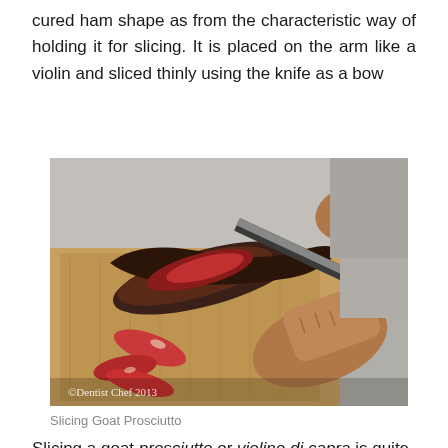cured ham shape as from the characteristic way of holding it for slicing. It is placed on the arm like a violin and sliced thinly using the knife as a bow
[Figure (photo): Photograph of a person slicing goat prosciutto on a wooden cutting board outdoors. The cured meat leg is being sliced with a knife held in wrinkled hands. Several thin red slices of meat are visible on the board. Watermark reads '©Dentist Chef 2013'.]
Slicing Goat Prosciutto
Slicing a goat prosciutto or violino di capra is quite